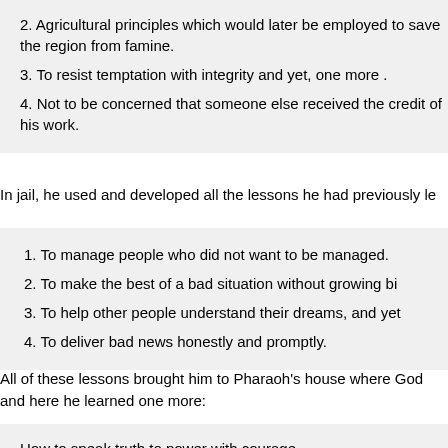2. Agricultural principles which would later be employed to save the region from famine.
3. To resist temptation with integrity and yet, one more .
4. Not to be concerned that someone else received the credit of his work.
In jail, he used and developed all the lessons he had previously le
1. To manage people who did not want to be managed.
2. To make the best of a bad situation without growing bi
3. To help other people understand their dreams, and yet
4. To deliver bad news honestly and promptly.
All of these lessons brought him to Pharaoh's house where God and here he learned one more:
How to speak truth to power with courage.